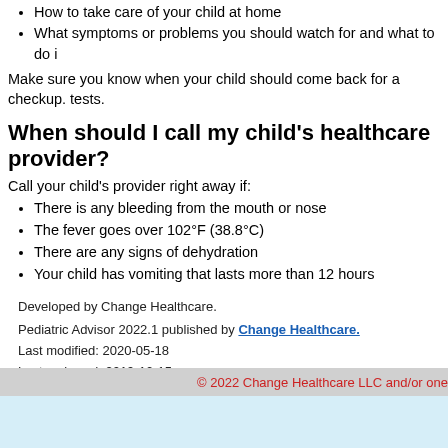How to take care of your child at home
What symptoms or problems you should watch for and what to do
Make sure you know when your child should come back for a checkup. tests.
When should I call my child's healthcare provider?
Call your child's provider right away if:
There is any bleeding from the mouth or nose
The fever goes over 102°F (38.8°C)
There are any signs of dehydration
Your child has vomiting that lasts more than 12 hours
Developed by Change Healthcare.
Pediatric Advisor 2022.1 published by Change Healthcare.
Last modified: 2020-05-18
Last reviewed: 2019-10-15
This content is reviewed periodically and is subject to change as new health intended to inform and educate and is not a replacement for medical evalua healthcare professional.
References
Pediatric Advisor 2022.1 Index
© 2022 Change Healthcare LLC and/or one